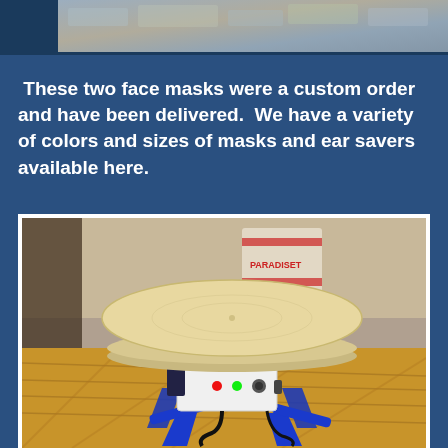[Figure (photo): Partial top image strip showing a watermark URL 'LicensePlateFoundation.com' and what appears to be a background of textured stone or similar material]
These two face masks were a custom order and have been delivered.  We have a variety of colors and sizes of masks and ear savers available here.
[Figure (photo): Photo of a motorized turntable with blue 3D-printed legs and a round plywood top platform. The device has a white electronics housing with red and green indicator lights and knobs, with cables visible. Background shows a wood floor and a 'PARADISET' bag.]